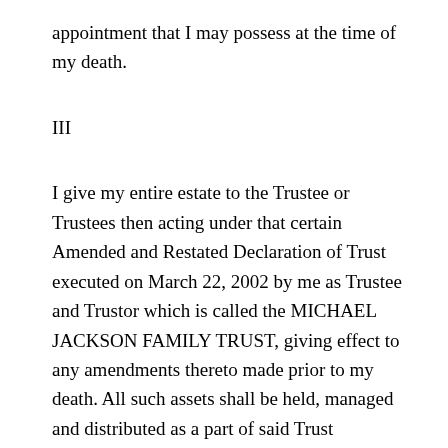appointment that I may possess at the time of my death.
III
I give my entire estate to the Trustee or Trustees then acting under that certain Amended and Restated Declaration of Trust executed on March 22, 2002 by me as Trustee and Trustor which is called the MICHAEL JACKSON FAMILY TRUST, giving effect to any amendments thereto made prior to my death. All such assets shall be held, managed and distributed as a part of said Trust according to its terms and not as a separate testamentary trust.
If for any reason this gift is not operative or is invalid,